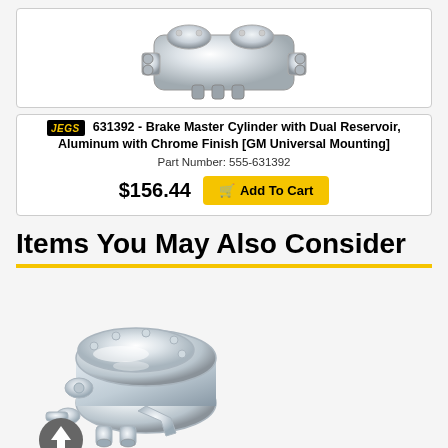[Figure (photo): Chrome brake master cylinder with dual reservoir, viewed from angle, chrome finish, shown on white background]
JEGS 631392 - Brake Master Cylinder with Dual Reservoir, Aluminum with Chrome Finish [GM Universal Mounting]
Part Number: 555-631392
$156.44  Add To Cart
Items You May Also Consider
[Figure (photo): Chrome brake master cylinder product photo, polished chrome finish with oval cap, shown from angled front view]